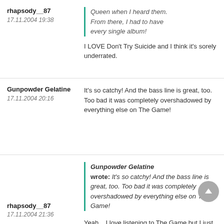Queen when I heard them. From there, I had to have every single album!
I LOVE Don't Try Suicide and I think it's sorely underrated.
rhapsody__87
17.11.2004 19:38
Gunpowder Gelatine
17.11.2004 20:16
It's so catchy! And the bass line is great, too. Too bad it was completely overshadowed by everything else on The Game!
rhapsody__87
17.11.2004 21:36
Gunpowder Gelatine wrote: It's so catchy! And the bass line is great, too. Too bad it was completely overshadowed by everything else on The Game!
Yeah... I love listening to The Game but I just wish it was a bit longer, you